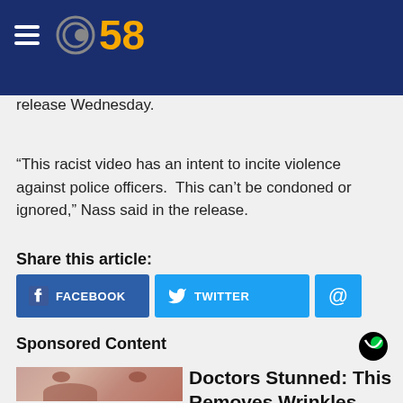[Figure (logo): CBS 58 logo with hamburger menu on dark blue header bar]
State Senator Steve Nass criticized the video in a release Wednesday.
“This racist video has an intent to incite violence against police officers.  This can’t be condoned or ignored,” Nass said in the release.
Share this article:
[Figure (infographic): Share buttons: Facebook, Twitter, and email (@) in blue buttons]
Sponsored Content
[Figure (photo): Close-up photo of a person's nose and lips with dry/flaky skin texture]
Doctors Stunned: This Removes Wrinkles Like Crazy (Try Tonight)